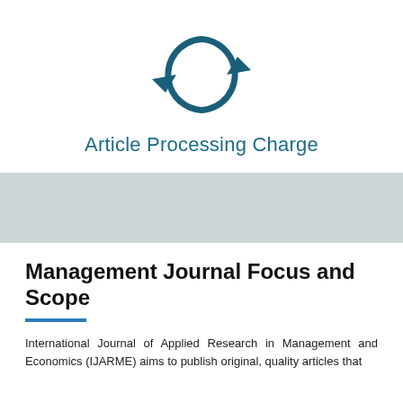[Figure (logo): Circular arrows refresh/sync icon in dark teal color]
Article Processing Charge
Management Journal Focus and Scope
International Journal of Applied Research in Management and Economics (IJARME) aims to publish original, quality articles that